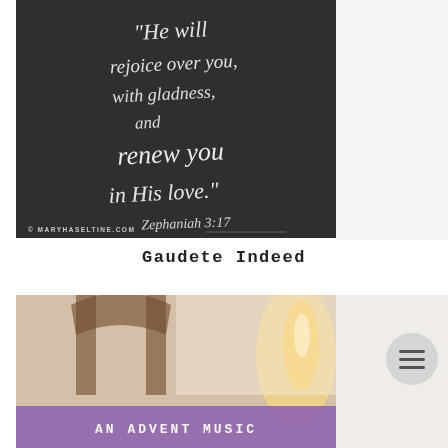[Figure (photo): A framed chalkboard with handwritten white chalk text reading: 'He will rejoice over you, with gladness, and renew you in His love.' Zephaniah 3:17. The frame is white and sits against a light wall. Watermark reads © MARYHASELTINE.COM]
Gaudete Indeed
[Figure (photo): A photo showing what appears to be a wooden Advent wreath or similar religious item with a candle flame visible. At the bottom is a purple banner overlay with text 'AN ADVENT MUSIC' partially visible.]